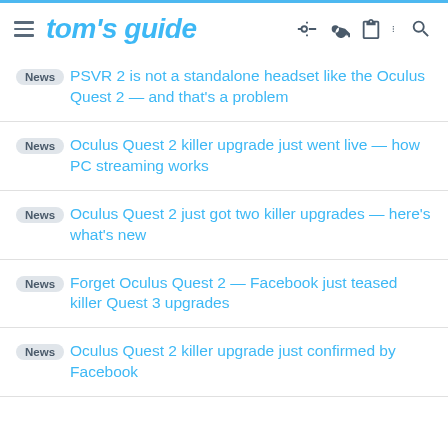tom's guide
News PSVR 2 is not a standalone headset like the Oculus Quest 2 — and that's a problem
News Oculus Quest 2 killer upgrade just went live — how PC streaming works
News Oculus Quest 2 just got two killer upgrades — here's what's new
News Forget Oculus Quest 2 — Facebook just teased killer Quest 3 upgrades
News Oculus Quest 2 killer upgrade just confirmed by Facebook